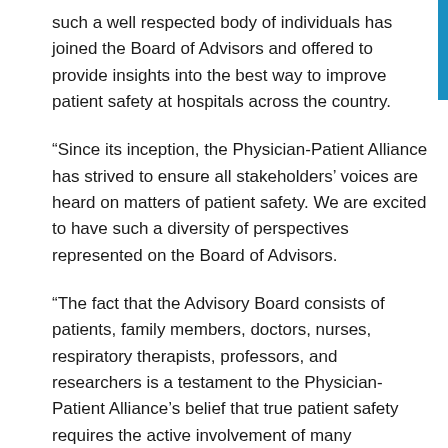such a well respected body of individuals has joined the Board of Advisors and offered to provide insights into the best way to improve patient safety at hospitals across the country.
“Since its inception, the Physician-Patient Alliance has strived to ensure all stakeholders’ voices are heard on matters of patient safety. We are excited to have such a diversity of perspectives represented on the Board of Advisors.
“The fact that the Advisory Board consists of patients, family members, doctors, nurses, respiratory therapists, professors, and researchers is a testament to the Physician-Patient Alliance’s belief that true patient safety requires the active involvement of many stakeholders from a wide range of backgrounds.